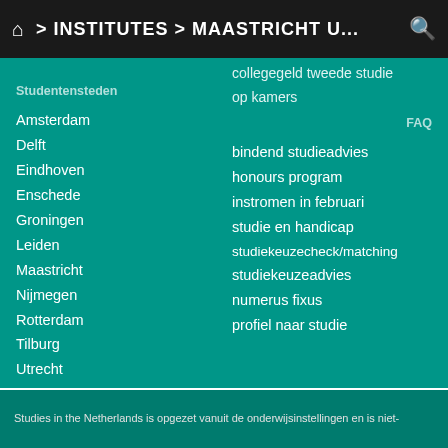🏠 > INSTITUTES > MAASTRICHT U...
collegegeld tweede studie
op kamers
Studentensteden
Amsterdam
Delft
Eindhoven
Enschede
Groningen
Leiden
Maastricht
Nijmegen
Rotterdam
Tilburg
Utrecht
Wageningen
FAQ
bindend studieadvies
honours program
instromen in februari
studie en handicap
studiekeuzecheck/matching
studiekeuzeadvies
numerus fixus
profiel naar studie
Studies in the Netherlands is opgezet vanuit de onderwijsinstellingen en is niet-